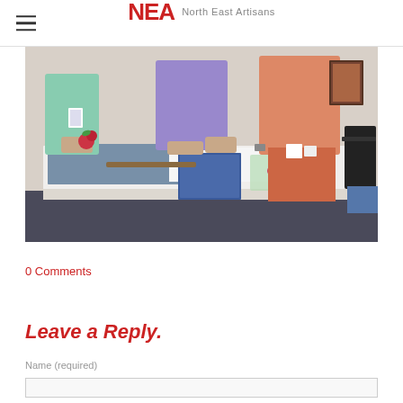NEA North East Artisans
[Figure (photo): People working at a long white table in a craft or art workshop session, with fabric, bags, and art supplies visible on the table.]
0 Comments
Leave a Reply.
Name (required)